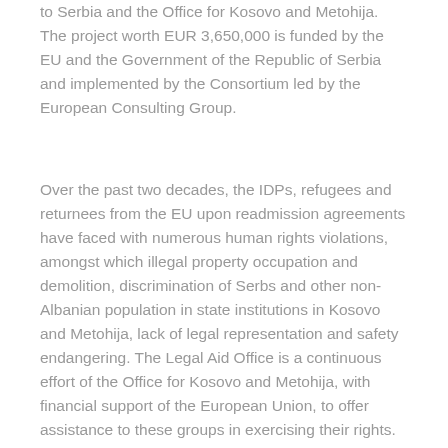to Serbia and the Office for Kosovo and Metohija. The project worth EUR 3,650,000 is funded by the EU and the Government of the Republic of Serbia and implemented by the Consortium led by the European Consulting Group.
Over the past two decades, the IDPs, refugees and returnees from the EU upon readmission agreements have faced with numerous human rights violations, amongst which illegal property occupation and demolition, discrimination of Serbs and other non-Albanian population in state institutions in Kosovo and Metohija, lack of legal representation and safety endangering. The Legal Aid Office is a continuous effort of the Office for Kosovo and Metohija, with financial support of the European Union, to offer assistance to these groups in exercising their rights.